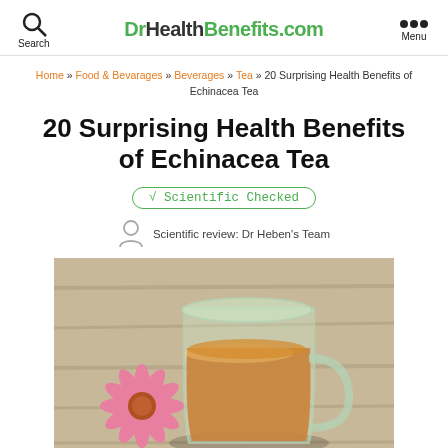DrHealthBenefits.com
Home » Food & Bevarages » Beverages » Tea » 20 Surprising Health Benefits of Echinacea Tea
20 Surprising Health Benefits of Echinacea Tea
√ Scientific Checked
Scientific review: Dr Heben's Team
[Figure (photo): A glass mug of amber-colored echinacea tea with a pink echinacea flower beside it on a wooden surface.]